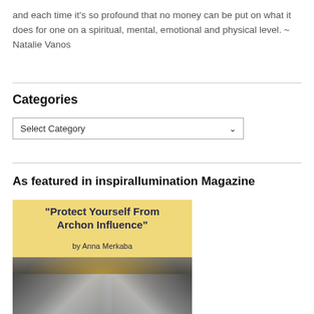and each time it's so profound that no money can be put on what it does for one on a spiritual, mental, emotional and physical level. ~ Natalie Vanos
Categories
Select Category
As featured in inspirallumination Magazine
[Figure (photo): Magazine cover image with title 'Protect Yourself From Archon Influence' by Anna Merkaba on a yellow background, with an open book photograph below showing a dramatic sky scene.]